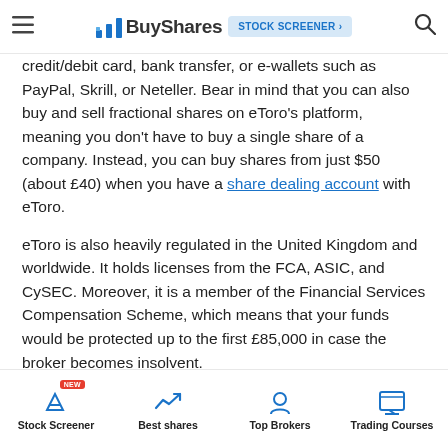BuyShares | STOCK SCREENER
credit/debit card, bank transfer, or e-wallets such as PayPal, Skrill, or Neteller. Bear in mind that you can also buy and sell fractional shares on eToro's platform, meaning you don't have to buy a single share of a company. Instead, you can buy shares from just $50 (about £40) when you have a share dealing account with eToro.
eToro is also heavily regulated in the United Kingdom and worldwide. It holds licenses from the FCA, ASIC, and CySEC. Moreover, it is a member of the Financial Services Compensation Scheme, which means that your funds would be protected up to the first £85,000 in case the broker becomes insolvent.
Stock Screener | Best shares | Top Brokers | Trading Courses